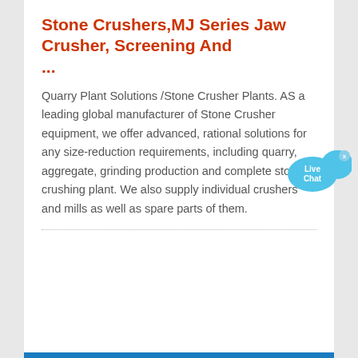Stone Crushers,MJ Series Jaw Crusher, Screening And ...
Quarry Plant Solutions /Stone Crusher Plants. AS a leading global manufacturer of Stone Crusher equipment, we offer advanced, rational solutions for any size-reduction requirements, including quarry, aggregate, grinding production and complete stone crushing plant. We also supply individual crushers and mills as well as spare parts of them.
[Figure (other): Live Chat button — a blue speech bubble with 'Live Chat' text and a close (x) button]